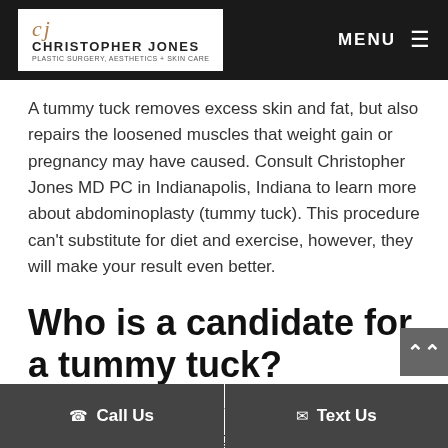Christopher Jones Plastic Surgery, Aesthetics + Skin Care — MENU
A tummy tuck removes excess skin and fat, but also repairs the loosened muscles that weight gain or pregnancy may have caused. Consult Christopher Jones MD PC in Indianapolis, Indiana to learn more about abdominoplasty (tummy tuck). This procedure can't substitute for diet and exercise, however, they will make your result even better.
Who is a candidate for a tummy tuck?
A person who has stubborn fat and loose skin around the abdomen is a good candidate for a tummy tuck. Many wh... wei... their bellies p... spit... rink it